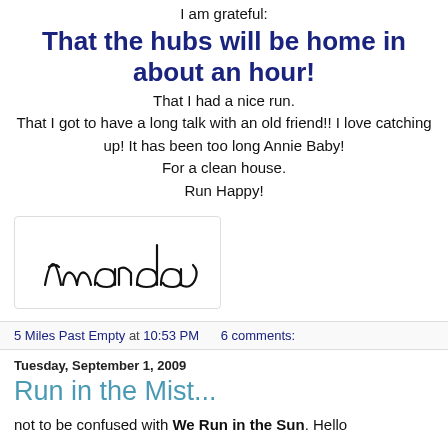I am grateful:
That the hubs will be home in about an hour!
That I had a nice run.
That I got to have a long talk with an old friend!! I love catching up! It has been too long Annie Baby!
For a clean house.
Run Happy!
[Figure (illustration): Handwritten cursive signature reading 'Amanda' in black ink inside a rounded rectangle border]
5 Miles Past Empty at 10:53 PM    6 comments:
Tuesday, September 1, 2009
Run in the Mist...
not to be confused with We Run in the Sun. Hello